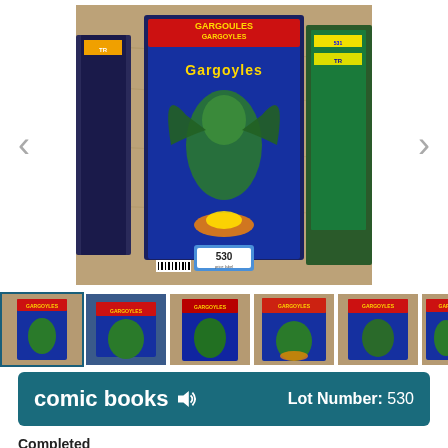[Figure (photo): Main auction photo showing Gargoyles comic books stacked in a wooden display, with other comics (Transformers) visible on the sides. A price tag labeled 530 is visible on the front comic.]
[Figure (photo): Thumbnail strip showing 6 photos of the same comic book lot from different angles.]
comic books  Lot Number: 530
Completed
Start Time: 5/19/2022 4:00:00 AM
End Time: 6/19/2022 12:06:00 AM